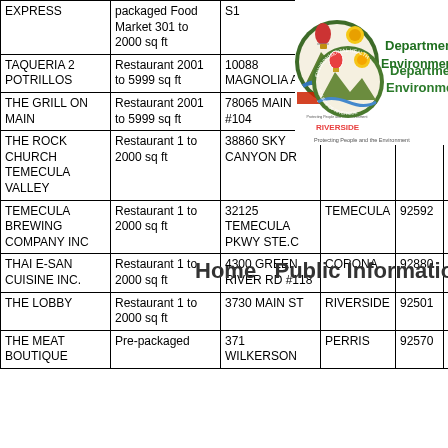| Name | Type | Address | City | Zip | Date | Score |
| --- | --- | --- | --- | --- | --- | --- |
| EXPRESS | packaged Food Market 301 to 2000 sq ft | S1 |  |  | 2021 |  |
| TAQUERIA 2 POTRILLOS | Restaurant 2001 to 5999 sq ft | 10088 MAGNOLIA AVE | RIVERSIDE | 92503 | Dec 3, 2021 | 92.0 |
| THE GRILL ON MAIN | Restaurant 2001 to 5999 sq ft | 78065 MAIN ST #104 | LA QUINTA | 92253 | Dec 3, 2021 | 90.0 |
| THE ROCK CHURCH TEMECULA VALLEY | Restaurant 1 to 2000 sq ft | 38860 SKY CANYON DR | MURRIETA | 92563 | Dec 3, 2021 | 96.0 |
| TEMECULA BREWING COMPANY INC | Restaurant 1 to 2000 sq ft | 32125 TEMECULA PKWY STE.C | TEMECULA | 92592 | Dec 2, 2021 | 90.0 |
| THAI E-SAN CUISINE INC. | Restaurant 1 to 2000 sq ft | 4300 GREEN RIVER RD #118 | CORONA | 92880 | Dec 2, 2021 | 90.0 |
| THE LOBBY | Restaurant 1 to 2000 sq ft | 3730 MAIN ST | RIVERSIDE | 92501 | Dec 2, 2021 | 90.0 |
| THE MEAT BOUTIQUE | Pre-packaged | 371 WILKERSON | PERRIS | 92570 | Dec 2, 2021 | 97.0 |
[Figure (logo): Riverside County Department of Environmental Health seal and text]
Home   Public Information